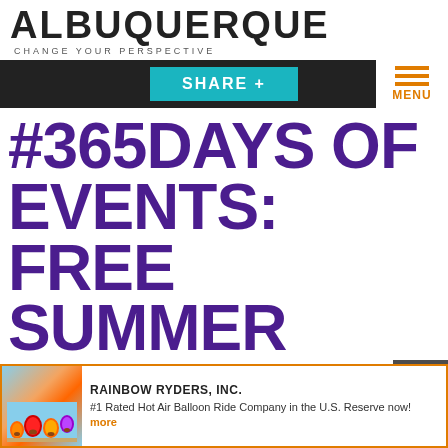ALBUQUERQUE — CHANGE YOUR PERSPECTIVE
[Figure (screenshot): Navigation bar with teal SHARE + button and dark background, plus orange hamburger menu with MENU label]
#365DAYS OF EVENTS: FREE SUMMER MOVIE, BEST OF THE CITY TOUR, FREEDOM 4TH CELEBRATION
[Figure (infographic): Advertisement for Rainbow Ryders, Inc. with hot air balloon photo. Text: RAINBOW RYDERS, INC. #1 Rated Hot Air Balloon Ride Company in the U.S. Reserve now! more]